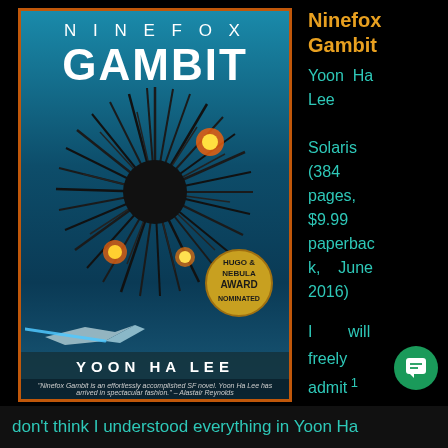[Figure (illustration): Book cover of Ninefox Gambit by Yoon Ha Lee. Dark space scene with a large spiky black creature/mass in the center with fiery explosions, a spacecraft below, teal/blue space background. Hugo & Nebula Award Nominated badge in gold circle. Author name at bottom.]
Ninefox Gambit
Yoon Ha Lee
Solaris
(384 pages, $9.99 paperback, June 2016)
I will freely admit that
don't think I understood everything in Yoon Ha